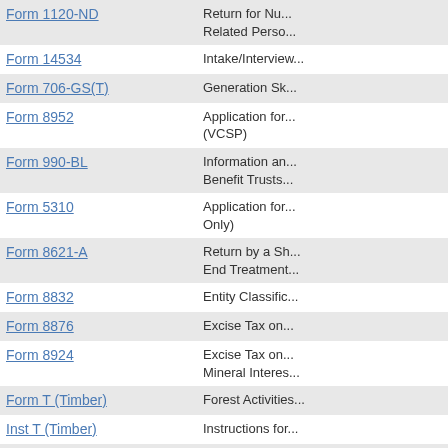| Form | Description |
| --- | --- |
| Form 1120-ND | Return for Nu... Related Perso... |
| Form 14534 | Intake/Interview... |
| Form 706-GS(T) | Generation Sk... |
| Form 8952 | Application for... (VCSP) |
| Form 990-BL | Information an... Benefit Trusts... |
| Form 5310 | Application for... Only) |
| Form 8621-A | Return by a Sh... End Treatment... |
| Form 8832 | Entity Classific... |
| Form 8876 | Excise Tax on... |
| Form 8924 | Excise Tax on... Mineral Interes... |
| Form T (Timber) | Forest Activities... |
| Inst T (Timber) | Instructions for... |
| Form 8809-EX | Request for Ex... Information Re... |
| Form W-13 | ExSTARS Rep... Identification N... |
| Form 945-X | Adjusted Annu... |